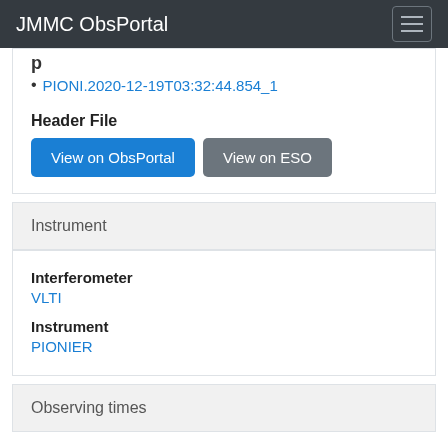JMMC ObsPortal
PIONI.2020-12-19T03:32:44.854_1
Header File
View on ObsPortal | View on ESO
Instrument
Interferometer: VLTI
Instrument: PIONIER
Observing times